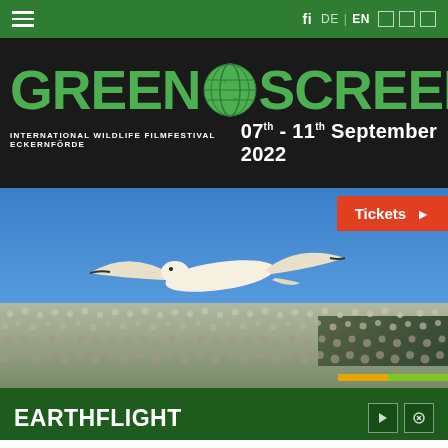GREEN SCREEN – International Wildlife Filmfestival Eckernförde | DE | EN
[Figure (logo): GREEN SCREEN logo with green puzzle-piece globe between the two words, on dark background. Subtitle: INTERNATIONAL WILDLIFE FILMFESTIVAL ECKERNFÖRDE 07th - 11th SEPTEMBER 2022]
[Figure (photo): Aerial photo of a gannet in flight over a massive seabird colony on a beach under a blue sky. Orange and green color bands in bottom-right corner.]
EARTHFLIGHT
A stunning and wondrous series from an amazing aerial perspective. Earthflight shows us different continents...